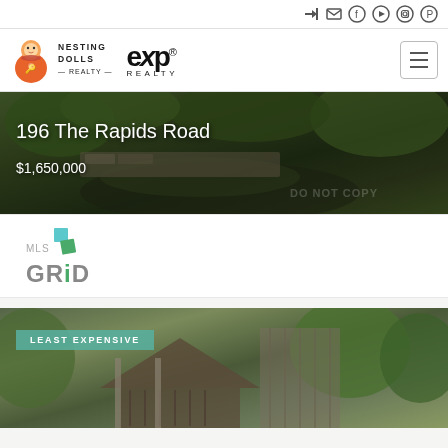Social media icons and login navigation bar
[Figure (logo): Nesting Dolls Realty and eXp Realty logos in website header]
[Figure (photo): Property listing photo for 196 The Rapids Road with stone pathway and lush greenery]
196 The Rapids Road
$1,650,000
[Figure (logo): MLS GRID logo]
[Figure (photo): Second property listing photo tagged LEAST EXPENSIVE showing house exterior with green trees]